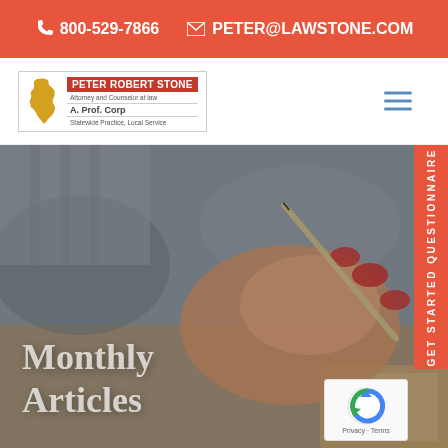☎ 800-529-7866  ✉ PETER@LAWSTONE.COM
[Figure (logo): Peter Robert Stone Attorney and Counselor at Law, A. Prof. Corp, Statewide Practice, Local Service logo with California state silhouette]
[Figure (photo): Close-up photo of a woman's hand with red nail polish writing with a pen in a notebook]
Monthly Articles
[Figure (other): GET STARTED QUESTIONNAIRE vertical sidebar tab in orange]
[Figure (other): reCAPTCHA badge with Privacy and Terms links]